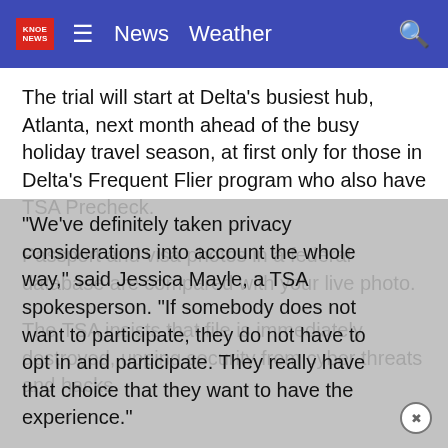KNOE News | News  Weather
The trial will start at Delta's busiest hub, Atlanta, next month ahead of the busy holiday travel season, at first only for those in Delta's Frequent Flier program who also have TSA Precheck.
Passport and visa photos in a federal database are compared with your live photo.
The TSA insists that file is immediately destroyed, upping security from cyber threats and hacks.
“We’ve definitely taken privacy considerations into account the whole way,” said Jessica Mayle, a TSA spokesperson. “If somebody does not want to participate, they do not have to opt in and participate. They really have that choice that they want to have the experience.”